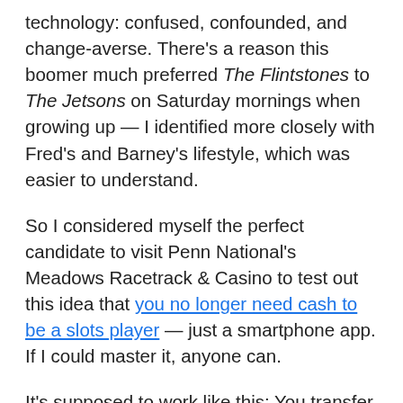technology: confused, confounded, and change-averse. There's a reason this boomer much preferred The Flintstones to The Jetsons on Saturday mornings when growing up — I identified more closely with Fred's and Barney's lifestyle, which was easier to understand.
So I considered myself the perfect candidate to visit Penn National's Meadows Racetrack & Casino to test out this idea that you no longer need cash to be a slots player — just a smartphone app. If I could master it, anyone can.
It's supposed to work like this: You transfer funds from a bank card or account into a digital wallet connected to your casino loyalty card information, scan the app at a slot machine, send designated funds to the machine, play as long as desired, and when done you cash out any winnings or remaining funds by sending them back to the